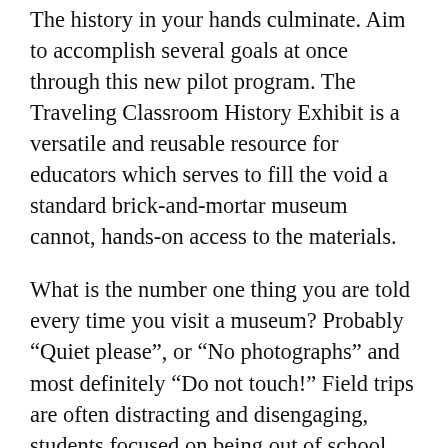The history in your hands culminate. Aim to accomplish several goals at once through this new pilot program. The Traveling Classroom History Exhibit is a versatile and reusable resource for educators which serves to fill the void a standard brick-and-mortar museum cannot, hands-on access to the materials.
What is the number one thing you are told every time you visit a museum? Probably “Quiet please”, or “No photographs” and most definitely “Do not touch!” Field trips are often distracting and disengaging, students focused on being out of school, not on the boundless learning opportunities. But if the setting is a pre-existing comfort zone, like the everyday classroom, and the students are allowed to be hands-on, then the potential for learning breaks through the glass